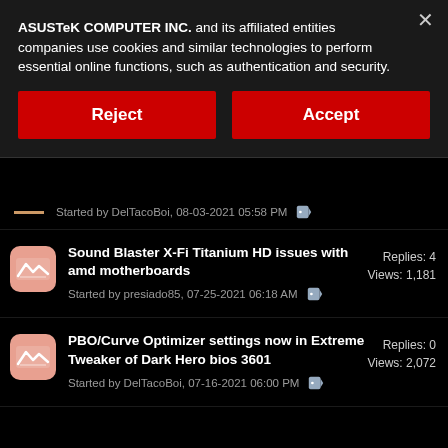ASUSTeK COMPUTER INC. and its affiliated entities companies use cookies and similar technologies to perform essential online functions, such as authentication and security.
Reject
Accept
Started by DelTacoBoi, 08-03-2021 05:58 PM
Sound Blaster X-Fi Titanium HD issues with amd motherboards
Started by presiado85, 07-25-2021 06:18 AM
Replies: 4
Views: 1,181
PBO/Curve Optimizer settings now in Extreme Tweaker of Dark Hero bios 3601
Started by DelTacoBoi, 07-16-2021 06:00 PM
Replies: 0
Views: 2,072